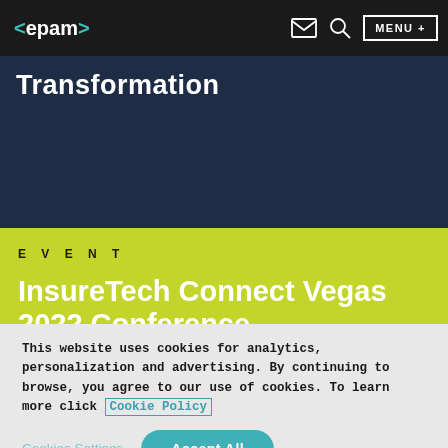<epam> [logo with mail, search, MENU + icons]
Transformation
EVENT
InsureTech Connect Vegas 2022 Conference
This website uses cookies for analytics, personalization and advertising. By continuing to browse, you agree to our use of cookies. To learn more click Cookie Policy
Cookies Settings | Accept All